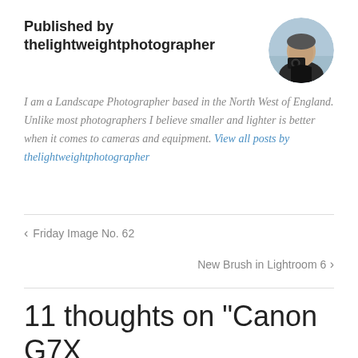Published by thelightweightphotographer
[Figure (photo): Circular avatar photo of a man holding a camera, photographed outdoors]
I am a Landscape Photographer based in the North West of England. Unlike most photographers I believe smaller and lighter is better when it comes to cameras and equipment. View all posts by thelightweightphotographer
‹  Friday Image No. 62
New Brush in Lightroom 6  ›
11 thoughts on “Canon G7X Field Report”